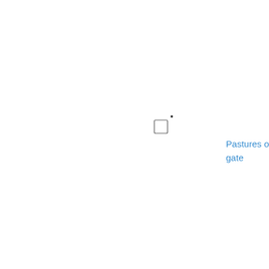[Figure (other): Small empty checkbox square near center-right of page, with a small dot above-right of it]
Pastures o gate